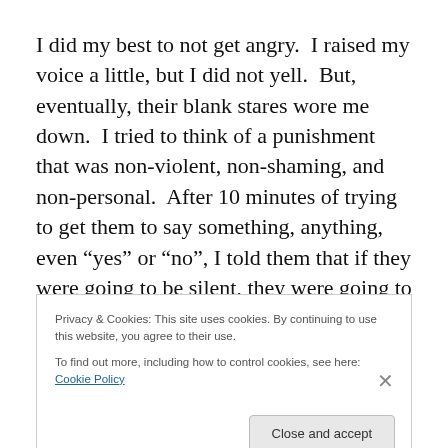I did my best to not get angry.  I raised my voice a little, but I did not yell.  But, eventually, their blank stares wore me down.  I tried to think of a punishment that was non-violent, non-shaming, and non-personal.  After 10 minutes of trying to get them to say something, anything, even “yes” or “no”, I told them that if they were going to be silent, they were going to do so uncomfortably. I made
Privacy & Cookies: This site uses cookies. By continuing to use this website, you agree to their use.
To find out more, including how to control cookies, see here: Cookie Policy
Close and accept